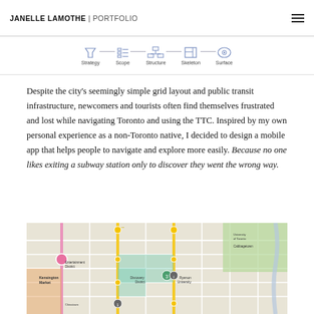JANELLE LAMOTHE | PORTFOLIO
[Figure (infographic): Navigation strip showing five UX design process stages: Strategy, Scope, Structure, Skeleton, Surface with corresponding icons connected by horizontal lines]
Despite the city's seemingly simple grid layout and public transit infrastructure, newcomers and tourists often find themselves frustrated and lost while navigating Toronto and using the TTC. Inspired by my own personal experience as a non-Toronto native, I decided to design a mobile app that helps people to navigate and explore more easily. Because no one likes exiting a subway station only to discover they went the wrong way.
[Figure (map): Street map of downtown Toronto showing neighborhoods including Kensington Market, Entertainment District, Chinatown, University of Toronto, Ryerson University, Cabbagetown, and transit routes highlighted in yellow and pink]